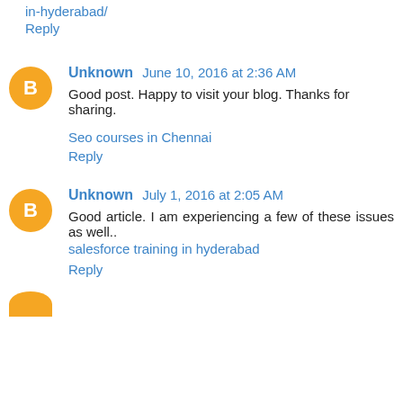in-hyderabad/
Reply
Unknown June 10, 2016 at 2:36 AM
Good post. Happy to visit your blog. Thanks for sharing.
Seo courses in Chennai
Reply
Unknown July 1, 2016 at 2:05 AM
Good article. I am experiencing a few of these issues as well..
salesforce training in hyderabad
Reply